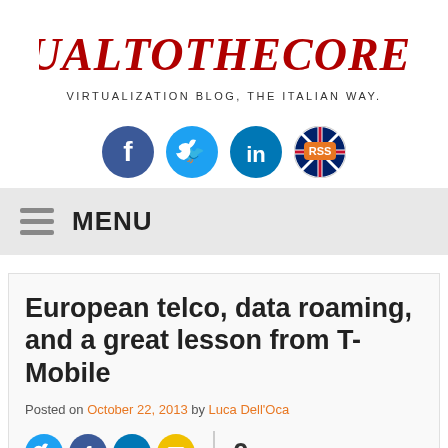[Figure (logo): VirtualToTheCore.com logo in red gothic/horror font with tagline 'Virtualization Blog, The Italian Way.']
[Figure (infographic): Social media icons: Facebook (dark blue circle), Twitter (light blue circle), LinkedIn (dark blue circle), RSS/UK flag circle]
≡  MENU
European telco, data roaming, and a great lesson from T-Mobile
Posted on October 22, 2013 by Luca Dell'Oca
[Figure (infographic): Share icons row: Twitter, Facebook, LinkedIn, Email circles, then a vertical divider and the number 0]